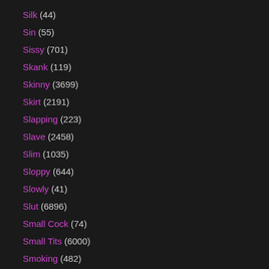Silk (44)
Sin (55)
Sissy (701)
Skank (119)
Skinny (3699)
Skirt (2191)
Slapping (223)
Slave (2458)
Slim (1035)
Sloppy (644)
Slowly (41)
Slut (6896)
Small Cock (74)
Small Tits (6000)
Smoking (482)